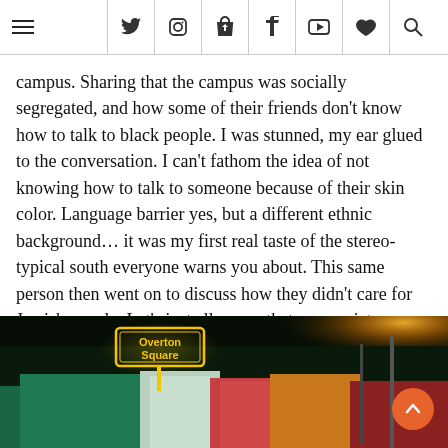Navigation header with hamburger menu and social icons: Twitter, Instagram, Pinterest, Tumblr, YouTube, Heart, Search
campus. Sharing that the campus was socially segregated, and how some of their friends don't know how to talk to black people. I was stunned, my ear glued to the conversation. I can't fathom the idea of not knowing how to talk to someone because of their skin color. Language barrier yes, but a different ethnic background… it was my first real taste of the stereo-typical south everyone warns you about. This same person then went on to discuss how they didn't care for Jewish people. Let's just all agree, that as a society we should look at people as an individual and not respond to someone based on a skewed idea of a group of people.
[Figure (photo): Nighttime photo of Overton Square neon sign with colorful carnival or entertainment district buildings lit up at night. A scroll-to-top button (orange circle with up arrow) is visible in the lower right.]